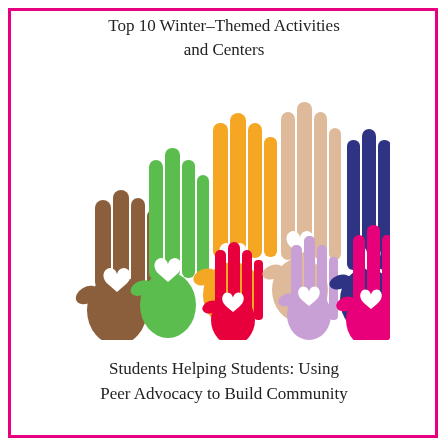Top 10 Winter-Themed Activities and Centers
[Figure (illustration): Colorful raised hands with heart cutouts in various colors including brown, green, orange, red, pink, peach/skin, light purple, dark navy blue, and hot pink, representing diversity and community.]
Students Helping Students: Using Peer Advocacy to Build Community